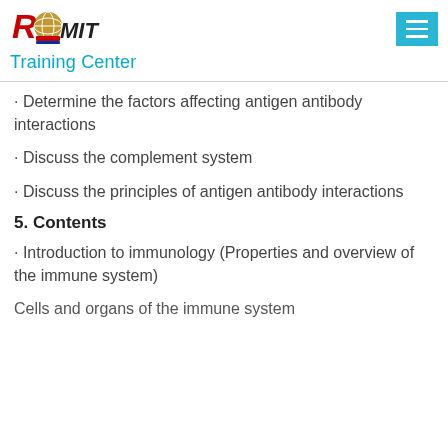RCMIT Training Center
· Determine the factors affecting antigen antibody interactions
· Discuss the complement system
· Discuss the principles of antigen antibody interactions
5. Contents
· Introduction to immunology (Properties and overview of the immune system)
Cells and organs of the immune system